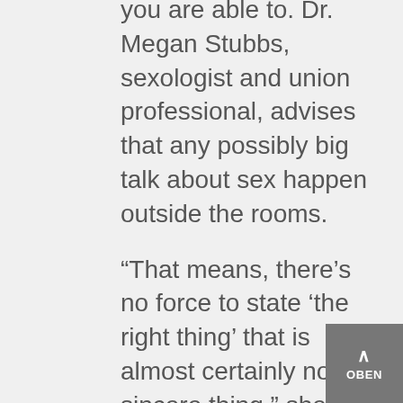you are able to. Dr. Megan Stubbs, sexologist and union professional, advises that any possibly big talk about sex happen outside the rooms.
“That means, there’s no force to state ‘the right thing’ that is almost certainly not the sincere thing,” she explains. “Bring this up when you’re